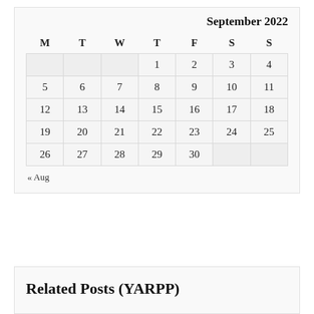| M | T | W | T | F | S | S |
| --- | --- | --- | --- | --- | --- | --- |
|  |  |  | 1 | 2 | 3 | 4 |
| 5 | 6 | 7 | 8 | 9 | 10 | 11 |
| 12 | 13 | 14 | 15 | 16 | 17 | 18 |
| 19 | 20 | 21 | 22 | 23 | 24 | 25 |
| 26 | 27 | 28 | 29 | 30 |  |  |
« Aug
Related Posts (YARPP)